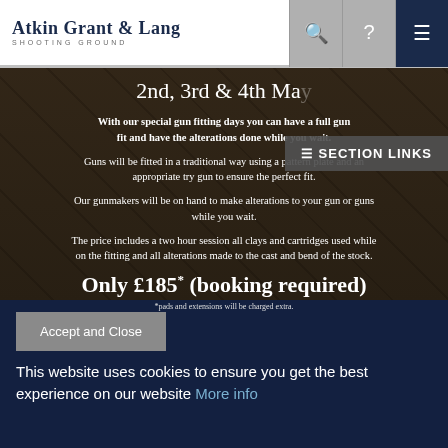Atkin Grant & Lang SHOOTING GROUND
[Figure (photo): Promotional banner for gun fitting days at Atkin Grant & Lang Shooting Ground. Shows 2nd, 3rd & 4th May date header over a dark background with gun imagery. Text details the gun fitting day offer including price of Only £185* (booking required). Description of the service, fitting process, gunmakers availability, and what is included in the price. Footnote: *pads and extensions will be charged extra.]
Accept and Close
This website uses cookies to ensure you get the best experience on our website More info